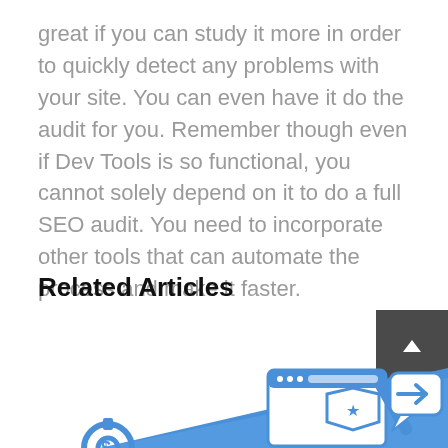great if you can study it more in order to quickly detect any problems with your site. You can even have it do the audit for you. Remember though even if Dev Tools is so functional, you cannot solely depend on it to do a full SEO audit. You need to incorporate other tools that can automate the process and make it faster.
Related Articles
[Figure (illustration): Illustration showing SEO-related icons: a gear with a dollar sign, a blue triangle/banner shape, a browser window with a trophy/shield icon, and a chat bubble with an arrow, representing web tools and SEO concepts.]